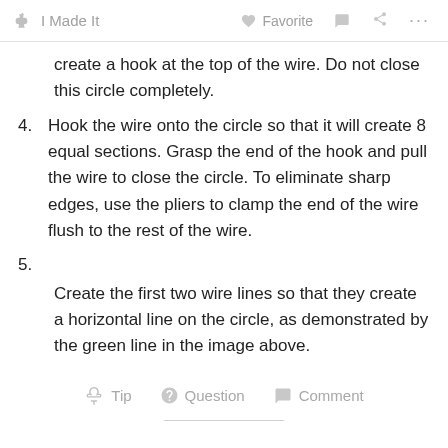I Made It   Favorite   Comment   Share   ...
create a hook at the top of the wire. Do not close this circle completely.
4. Hook the wire onto the circle so that it will create 8 equal sections. Grasp the end of the hook and pull the wire to close the circle. To eliminate sharp edges, use the pliers to clamp the end of the wire flush to the rest of the wire.
5.
Create the first two wire lines so that they create a horizontal line on the circle, as demonstrated by the green line in the image above.
Tip   Question   Comment